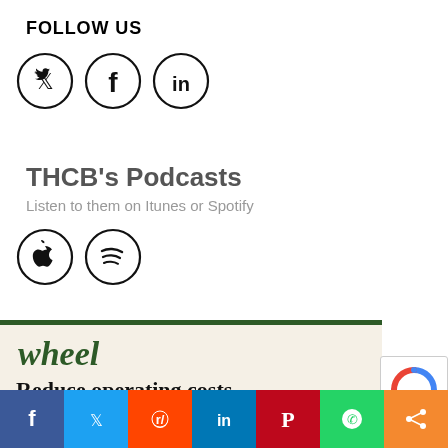FOLLOW US
[Figure (illustration): Three social media icons in circles: Twitter (bird), Facebook (f), LinkedIn (in)]
THCB's Podcasts
Listen to them on Itunes or Spotify
[Figure (illustration): Two podcast platform icons in circles: Apple Podcasts and Spotify]
[Figure (illustration): Advertisement banner for 'wheel' brand with headline: Reduce operating costs fast without sacrificing]
[Figure (illustration): Bottom share bar with Facebook, Twitter, Reddit, LinkedIn, Pinterest, WhatsApp, and Share icons]